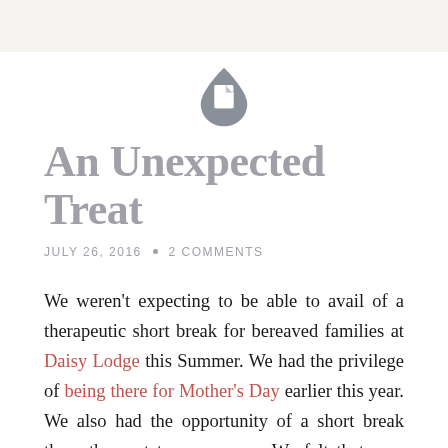[Figure (logo): Gray teardrop/document icon logo with a white document symbol inside]
An Unexpected Treat
JULY 26, 2016 • 2 COMMENTS
We weren't expecting to be able to avail of a therapeutic short break for bereaved families at Daisy Lodge this Summer. We had the privilege of being there for Mother's Day earlier this year. We also had the opportunity of a short break there the past two summers. We felt that now that it's been over two years since Leah died, that maybe it was time for us to step back and let other more newly bereaved families